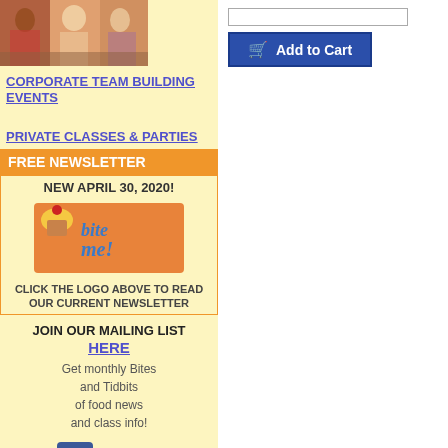[Figure (photo): Photo of people at a corporate team building event, dining together]
CORPORATE TEAM BUILDING EVENTS
PRIVATE CLASSES & PARTIES
FREE NEWSLETTER
NEW APRIL 30, 2020!
[Figure (logo): Bite Me! newsletter logo with cupcake on orange background]
CLICK THE LOGO ABOVE TO READ OUR CURRENT NEWSLETTER
JOIN OUR MAILING LIST HERE
Get monthly Bites and Tidbits of food news and class info!
[Figure (logo): Find us on Facebook logo with Facebook icon]
LIKE US ON FACEBOOK
[Figure (other): Input text field]
[Figure (other): Add to Cart button]